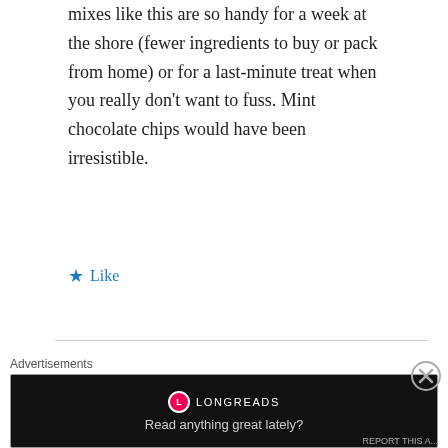mixes like this are so handy for a week at the shore (fewer ingredients to buy or pack from home) or for a last-minute treat when you really don't want to fuss. Mint chocolate chips would have been irresistible.
Like
caite@a lovely shore breeze
AUGUST 11, 2012 AT 9:11 AM
just their name makes we weak in the
Advertisements
[Figure (other): Longreads advertisement banner with logo and tagline 'Read anything great lately?']